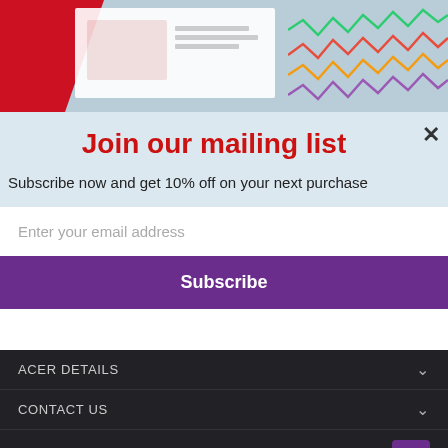[Figure (screenshot): Top banner area with red Acer branding element on left, white product image area in center, and colorful zigzag pattern on right, on light blue background]
Join our mailing list
Subscribe now and get 10% off on your next purchase
Enter your email address
Subscribe
ACER DETAILS
CONTACT US
INFORMATION